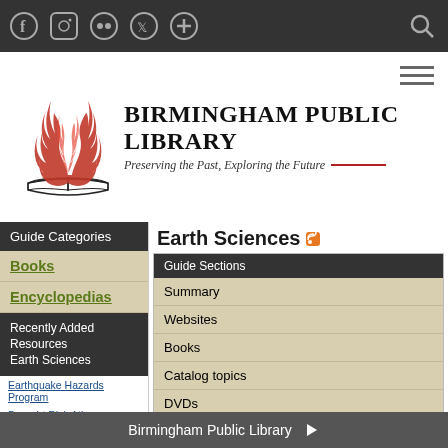Birmingham Public Library website header with social media icons and search
[Figure (logo): Birmingham Public Library logo with flame over open book and tagline: Preserving the Past, Exploring the Future]
Earth Sciences
| Guide Sections |
| --- |
| Summary |
| Websites |
| Books |
| Catalog topics |
| DVDs |
| Magazines |
Guide Categories
Books
Encyclopedias
Recently Added Resources Earth Sciences
Earthquake Hazards Program
Drought Risk Atlas
Smithsonian Ocean Portal
Restore the Gulf
Earthquide
| Guide Information |
| --- |
| Last Updated |
Birmingham Public Library